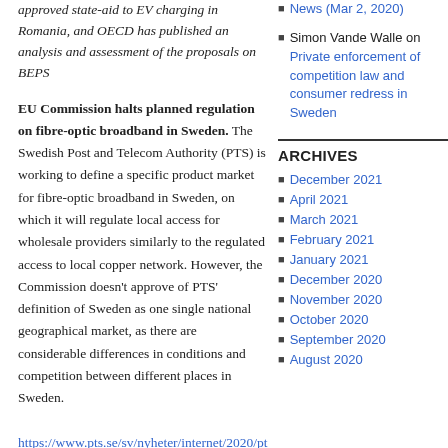approved state-aid to EV charging in Romania, and OECD has published an analysis and assessment of the proposals on BEPS
EU Commission halts planned regulation on fibre-optic broadband in Sweden. The Swedish Post and Telecom Authority (PTS) is working to define a specific product market for fibre-optic broadband in Sweden, on which it will regulate local access for wholesale providers similarly to the regulated access to local copper network. However, the Commission doesn't approve of PTS' definition of Sweden as one single national geographical market, as there are considerable differences in conditions and competition between different places in Sweden.
https://www.pts.se/sv/nyheter/internet/2020/pts-beslut-om-fiberreglering-drojer/
News (Mar 2, 2020)
Simon Vande Walle on Private enforcement of competition law and consumer redress in Sweden
ARCHIVES
December 2021
April 2021
March 2021
February 2021
January 2021
December 2020
November 2020
October 2020
September 2020
August 2020